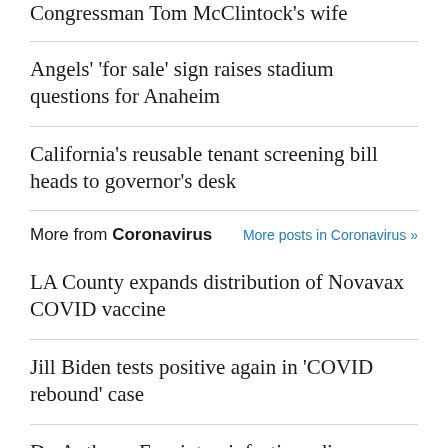Congressman Tom McClintock's wife
Angels' 'for sale' sign raises stadium questions for Anaheim
California's reusable tenant screening bill heads to governor's desk
More from Coronavirus   More posts in Coronavirus »
LA County expands distribution of Novavax COVID vaccine
Jill Biden tests positive again in 'COVID rebound' case
Dr. Anthony Fauci, top infectious disease expert,